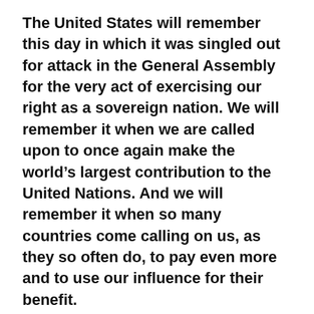The United States will remember this day in which it was singled out for attack in the General Assembly for the very act of exercising our right as a sovereign nation. We will remember it when we are called upon to once again make the world’s largest contribution to the United Nations. And we will remember it when so many countries come calling on us, as they so often do, to pay even more and to use our influence for their benefit.
America will put our embassy in Jerusalem. That is what the American people want us to do, and it is the right thing to do. No vote in the United Nations will make any difference on that.
But this vote will make a difference on how Americans look at the UN and on how we look at countries who